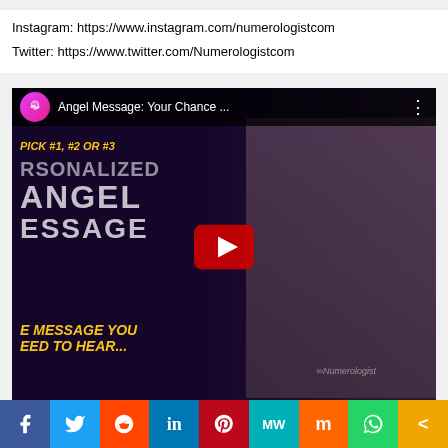Instagram: https://www.instagram.com/numerologistcom
Twitter: https://www.twitter.com/Numerologistcom
[Figure (screenshot): YouTube video thumbnail for 'Angel Message: Your Chance ...' from Numerologist channel. Shows a woman with long grey-blonde hair and a dark mystical background with text overlays: 'PICK #1, #2 OR #3', 'PERSONALIZED ANGEL MESSAGE', 'THE MESSAGE YOU NEED TO HEAR...' with a YouTube play button in the center.]
[Figure (infographic): Social media share bar at the bottom with icons for Facebook, Twitter, Reddit, LinkedIn, Pinterest, MeWe, Mix, WhatsApp, and a share button.]